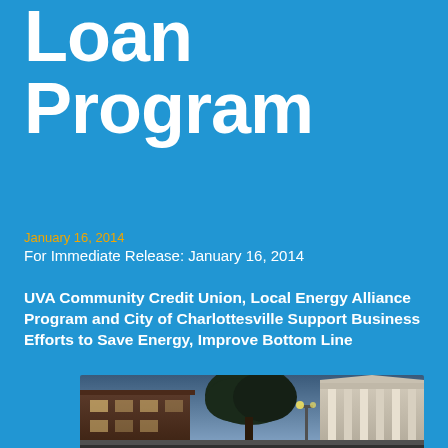Loan Program
January 16, 2014
For Immediate Release: January 16, 2014
UVA Community Credit Union, Local Energy Alliance Program and City of Charlottesville Support Business Efforts to Save Energy, Improve Bottom Line
[Figure (photo): Street-level dusk photo of downtown Charlottesville buildings including a classical columned structure and storefronts with street lights]